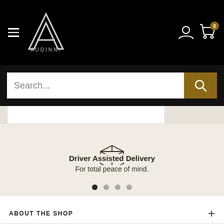[Figure (screenshot): Audinni e-commerce website header with black background, hamburger menu, Audinni logo (large A with text AUDINNI), user account icon, and shopping cart icon with badge showing 0]
[Figure (screenshot): Search bar with white input field showing placeholder text 'Search...' and a dark gold/brown search button with magnifying glass icon]
[Figure (illustration): Package/box outline icon centered on beige background above Driver Assisted Delivery text]
Driver Assisted Delivery
For total peace of mind.
[Figure (other): Four dot pagination indicator, first dot filled dark, others lighter]
ABOUT THE SHOP